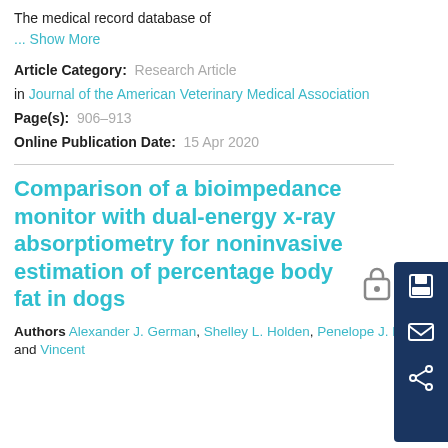The medical record database of
... Show More
Article Category:  Research Article
in Journal of the American Veterinary Medical Association
Page(s):  906–913
Online Publication Date:  15 Apr 2020
Comparison of a bioimpedance monitor with dual-energy x-ray absorptiometry for noninvasive estimation of percentage body fat in dogs
Authors Alexander J. German, Shelley L. Holden, Penelope J. Morris and Vincent